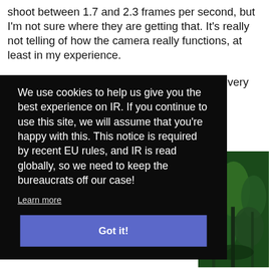shoot between 1.7 and 2.3 frames per second, but I'm not sure where they are getting that. It's really not telling of how the camera really functions, at least in my experience.
In reality, you can expect to take one photo every two to four seconds, depending on if you are shooting RAW only or [text obscured by overlay] amera a [text obscured] only
We use cookies to help us give you the best experience on IR. If you continue to use this site, we will assume that you're happy with this. This notice is required by recent EU rules, and IR is read globally, so we need to keep the bureaucrats off our case!
Learn more
Got it!
[Figure (photo): Partial view of a lush green forest/jungle photograph visible behind the cookie consent overlay on the right side of the page]